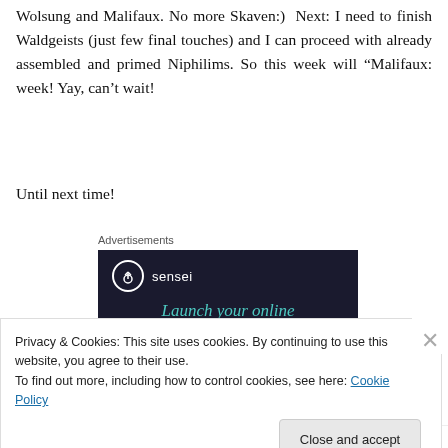Wolsung and Malifaux. No more Skaven:)  Next: I need to finish Waldgeists (just few final touches) and I can proceed with already assembled and primed Niphilims. So this week will “Malifaux: week! Yay, can’t wait!
Until next time!
Advertisements
[Figure (screenshot): Dark advertisement banner for 'sensei' with logo (circle with tree icon) and teal text reading 'Launch your online' with partial text below]
Privacy & Cookies: This site uses cookies. By continuing to use this website, you agree to their use.
To find out more, including how to control cookies, see here: Cookie Policy
Close and accept